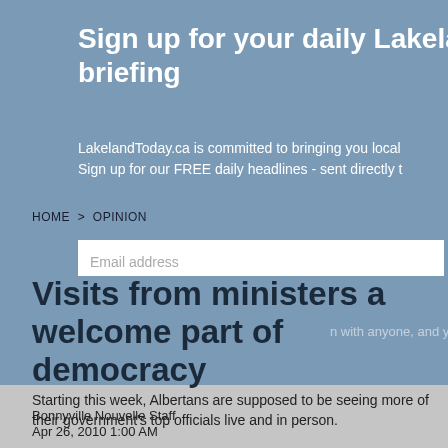Sign up for your daily Lakeland news briefing
LakelandToday.ca is committed to bringing you local news. Sign up for our FREE daily headlines - sent directly to
HOME > OPINION
Visits from ministers a welcome part of democracy
Starting this week, Albertans are supposed to be seeing more of their government's top officials live and in person.
Bonnyville Nouvelle Staff
Apr 26, 2010 1:00 AM